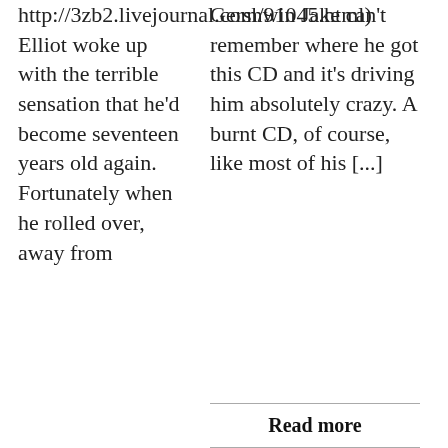http://3zb2.livejournal.com/91045.html) Elliot woke up with the terrible sensation that he'd become seventeen years old again. Fortunately when he rolled over, away from
Gershwin Jake can't remember where he got this CD and it's driving him absolutely crazy. A burnt CD, of course, like most of his [...]
Read more